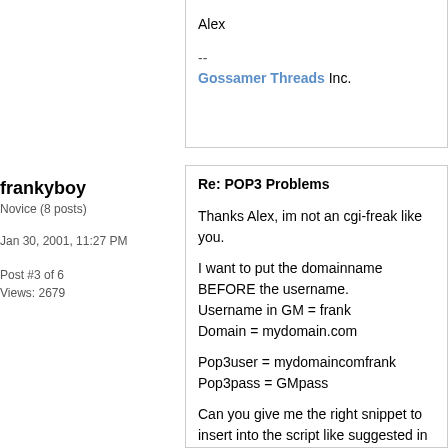Alex
--
Gossamer Threads Inc.
frankyboy
Novice (8 posts)
Jan 30, 2001, 11:27 PM
Post #3 of 6
Views: 2679
Re: POP3 Problems
Thanks Alex, im not an cgi-freak like you.

I want to put the domainname BEFORE the username.
Username in GM = frank
Domain = mydomain.com

Pop3user = mydomaincomfrank
Pop3pass = GMpass

Can you give me the right snippet to insert into the script like suggested in p/94912 please?

Thanks Frank